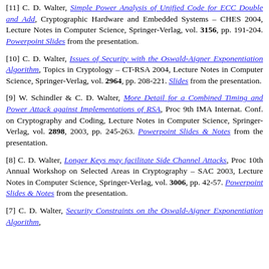[11] C. D. Walter, Simple Power Analysis of Unified Code for ECC Double and Add, Cryptographic Hardware and Embedded Systems – CHES 2004, Lecture Notes in Computer Science, Springer-Verlag, vol. 3156, pp. 191-204. Powerpoint Slides from the presentation.
[10] C. D. Walter, Issues of Security with the Oswald-Aigner Exponentiation Algorithm, Topics in Cryptology – CT-RSA 2004, Lecture Notes in Computer Science, Springer-Verlag, vol. 2964, pp. 208-221. Slides from the presentation.
[9] W. Schindler & C. D. Walter, More Detail for a Combined Timing and Power Attack against Implementations of RSA, Proc 9th IMA Internat. Conf. on Cryptography and Coding, Lecture Notes in Computer Science, Springer-Verlag, vol. 2898, 2003, pp. 245-263. Powerpoint Slides & Notes from the presentation.
[8] C. D. Walter, Longer Keys may facilitate Side Channel Attacks, Proc 10th Annual Workshop on Selected Areas in Cryptography – SAC 2003, Lecture Notes in Computer Science, Springer-Verlag, vol. 3006, pp. 42-57. Powerpoint Slides & Notes from the presentation.
[7] C. D. Walter, Security Constraints on the Oswald-Aigner Exponentiation Algorithm, ...